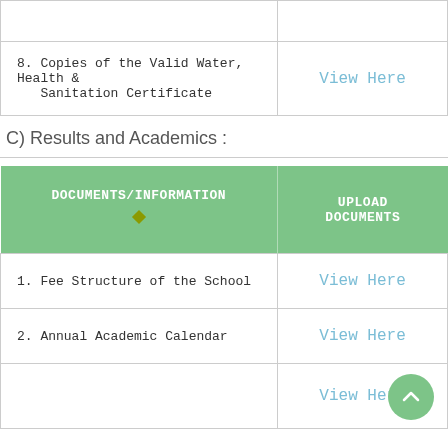| DOCUMENTS/INFORMATION | UPLOAD DOCUMENTS |
| --- | --- |
| 8. Copies of the Valid Water, Health & Sanitation Certificate | View Here |
C) Results and Academics :
| DOCUMENTS/INFORMATION | UPLOAD DOCUMENTS |
| --- | --- |
| 1. Fee Structure of the School | View Here |
| 2. Annual Academic Calendar | View Here |
|  | View Here |